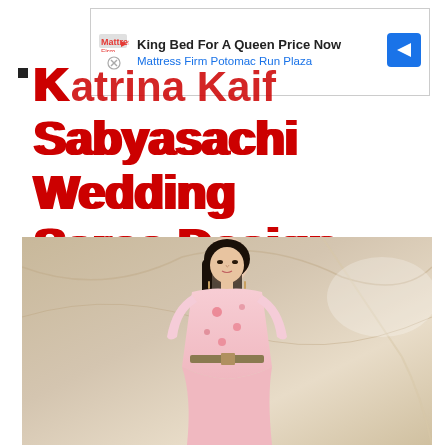[Figure (other): Advertisement banner: King Bed For A Queen Price Now — Mattress Firm Potomac Run Plaza, with play button icon, X button, Mattress Firm logo, and blue arrow navigation icon]
Katrina Kaif Sabyasachi Wedding Saree Design
[Figure (photo): Woman with long black hair wearing a pink floral outfit with a belt, standing against a beige/marble textured background]